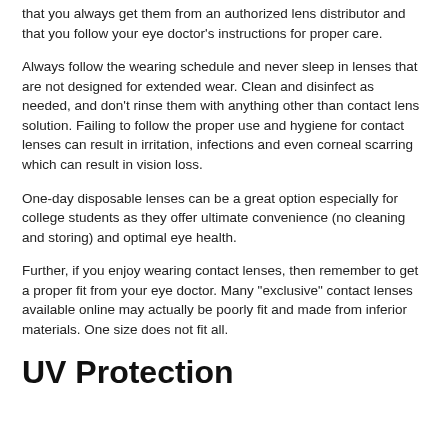that you always get them from an authorized lens distributor and that you follow your eye doctor's instructions for proper care.
Always follow the wearing schedule and never sleep in lenses that are not designed for extended wear. Clean and disinfect as needed, and don't rinse them with anything other than contact lens solution. Failing to follow the proper use and hygiene for contact lenses can result in irritation, infections and even corneal scarring which can result in vision loss.
One-day disposable lenses can be a great option especially for college students as they offer ultimate convenience (no cleaning and storing) and optimal eye health.
Further, if you enjoy wearing contact lenses, then remember to get a proper fit from your eye doctor. Many "exclusive" contact lenses available online may actually be poorly fit and made from inferior materials. One size does not fit all.
UV Protection